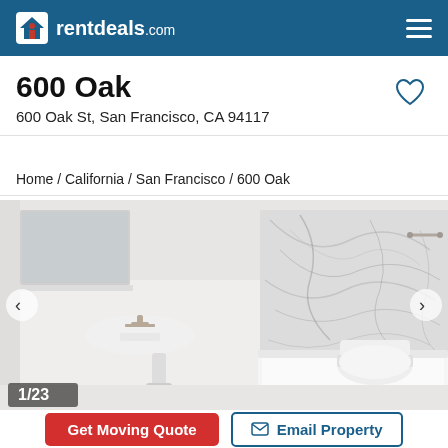rentdeals.com
600 Oak
600 Oak St, San Francisco, CA 94117
Home / California / San Francisco / 600 Oak
[Figure (photo): Bathroom interior with pedestal sink, toilet, and marble-tiled bathtub surround. Navigation arrows on left and right. Counter shows 1/23.]